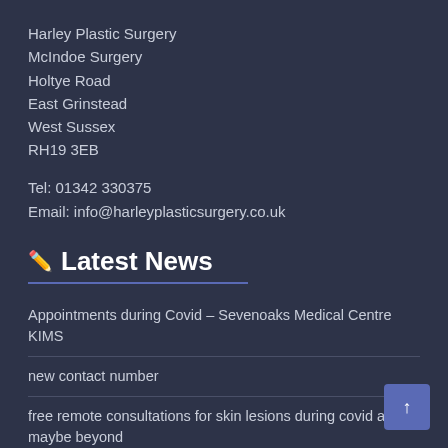Harley Plastic Surgery
McIndoe Surgery
Holtye Road
East Grinstead
West Sussex
RH19 3EB
Tel: 01342 330375
Email: info@harleyplasticsurgery.co.uk
✏ Latest News
Appointments during Covid – Sevenoaks Medical Centre KIMS
new contact number
free remote consultations for skin lesions during covid and maybe beyond
free remote consultations for hand and wrist problems during lockdown and maybe beyond